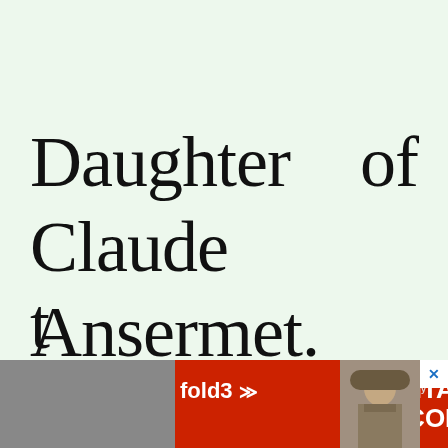Daughter of Claude Ansermet. The surname is uncertain, due t…
[Figure (screenshot): Fold3 by Ancestry advertisement banner for Military Records with Search Now button and soldier photograph]